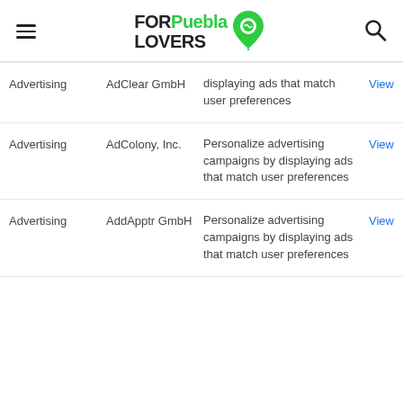FORPuebla LOVERS
| Category | Vendor | Description | Action |
| --- | --- | --- | --- |
| Advertising | AdClear GmbH | displaying ads that match user preferences | View |
| Advertising | AdColony, Inc. | Personalize advertising campaigns by displaying ads that match user preferences | View |
| Advertising | AddApptr GmbH | Personalize advertising campaigns by displaying ads that match user preferences | View |